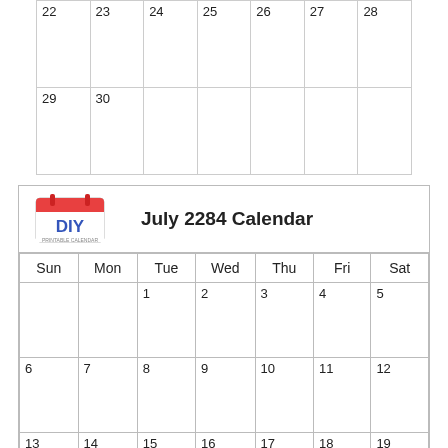| 22 | 23 | 24 | 25 | 26 | 27 | 28 |
| --- | --- | --- | --- | --- | --- | --- |
| 29 | 30 |  |  |  |  |  |
[Figure (other): DIY Printable Calendar logo — red calendar icon with 'DIY' text]
July 2284 Calendar
| Sun | Mon | Tue | Wed | Thu | Fri | Sat |
| --- | --- | --- | --- | --- | --- | --- |
|  |  | 1 | 2 | 3 | 4 | 5 |
| 6 | 7 | 8 | 9 | 10 | 11 | 12 |
| 13 | 14 | 15 | 16 | 17 | 18 | 19 |